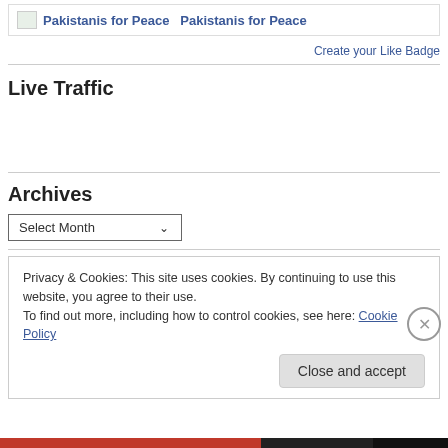[Figure (logo): Pakistanis for Peace logo image placeholder with text 'Pakistanis for Peace']
Create your Like Badge
Live Traffic
Archives
Select Month
Privacy & Cookies: This site uses cookies. By continuing to use this website, you agree to their use.
To find out more, including how to control cookies, see here: Cookie Policy
Close and accept